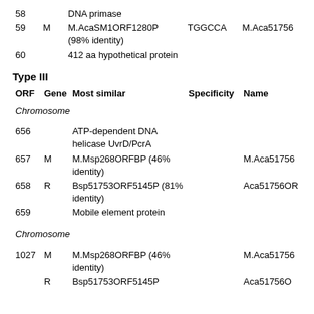| ORF | Gene | Most similar | Specificity | Name |
| --- | --- | --- | --- | --- |
| 58 |  | DNA primase |  |  |
| 59 | M | M.AcaSM1ORF1280P (98% identity) | TGGCCA | M.Aca51756 |
| 60 |  | 412 aa hypothetical protein |  |  |
Type III
| ORF | Gene | Most similar | Specificity | Name |
| --- | --- | --- | --- | --- |
| Chromosome |  |  |  |  |
| 656 |  | ATP-dependent DNA helicase UvrD/PcrA |  |  |
| 657 | M | M.Msp268ORFBP (46% identity) |  | M.Aca51756 |
| 658 | R | Bsp51753ORF5145P (81% identity) |  | Aca51756OR |
| 659 |  | Mobile element protein |  |  |
| Chromosome |  |  |  |  |
| 1027 | M | M.Msp268ORFBP (46% identity) |  | M.Aca51756 |
| 1028 | R | Bsp51753ORF5145P ... |  | Aca51756O |